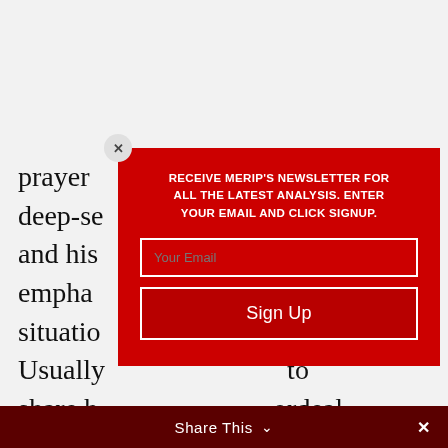prayer ...wly. His deep-se...uality and his ...and to empha...a situatio...eth. Usually ...to share h...ordeal, his wife...is young s...ne floor be...ers by
[Figure (screenshot): Newsletter signup modal with red background overlaying article text. Contains headline 'RECEIVE MERIP'S NEWSLETTER FOR ALL THE LATEST ANALYSIS. ENTER YOUR EMAIL AND CLICK SIGNUP.' with email input field and Sign Up button. A close X button appears in top-left corner of modal.]
Share This ∨  ×